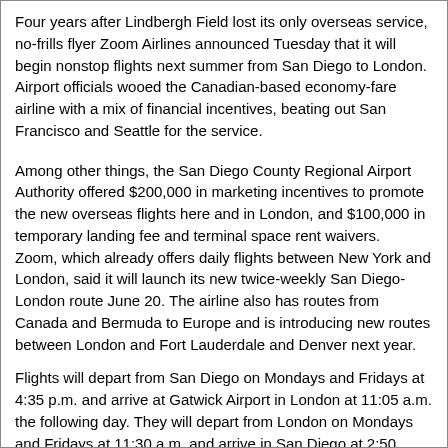Four years after Lindbergh Field lost its only overseas service, no-frills flyer Zoom Airlines announced Tuesday that it will begin nonstop flights next summer from San Diego to London.
Airport officials wooed the Canadian-based economy-fare airline with a mix of financial incentives, beating out San Francisco and Seattle for the service.
Among other things, the San Diego County Regional Airport Authority offered $200,000 in marketing incentives to promote the new overseas flights here and in London, and $100,000 in temporary landing fee and terminal space rent waivers.
Zoom, which already offers daily flights between New York and London, said it will launch its new twice-weekly San Diego-London route June 20. The airline also has routes from Canada and Bermuda to Europe and is introducing new routes between London and Fort Lauderdale and Denver next year.
Flights will depart from San Diego on Mondays and Fridays at 4:35 p.m. and arrive at Gatwick Airport in London at 11:05 a.m. the following day. They will depart from London on Mondays and Fridays at 11:30 a.m. and arrive in San Diego at 2:50 p.m., the airline said.
“We expect the flights will be popular on both sides of the Atlantic,” said Thella Bowens, president and chief executive officer of the Airport Authority. “The London flight will give San Diego’s tourism industry access to thousands of British travelers, who tend to stay longer and spend more.”
A Zoom round-trip ticket from San Diego to London in late June will